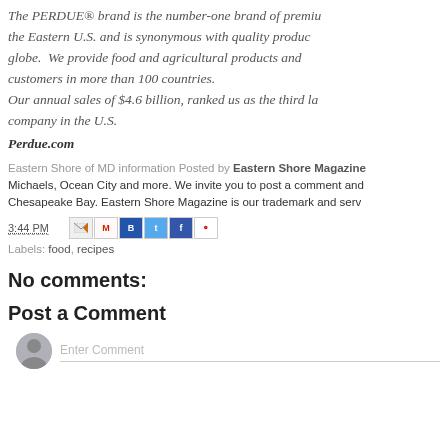The PERDUE® brand is the number-one brand of premium chicken in the Eastern U.S. and is synonymous with quality products across the globe. We provide food and agricultural products and services to customers in more than 100 countries. Our annual sales of $4.6 billion, ranked us as the third largest poultry company in the U.S.
Perdue.com
Eastern Shore of MD information Posted by Eastern Shore Magazine. Michaels, Ocean City and more. We invite you to post a comment and... Chesapeake Bay. Eastern Shore Magazine is our trademark and serv...
3:44 PM
Labels: food, recipes
No comments:
Post a Comment
Enter Comment